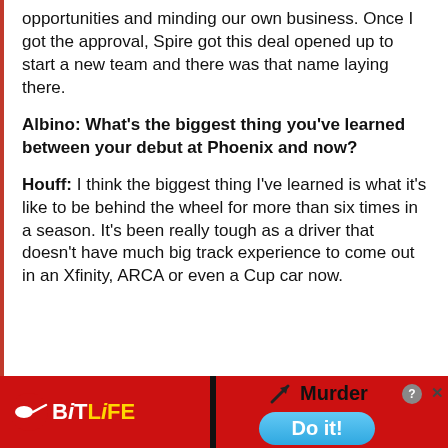opportunities and minding our own business. Once I got the approval, Spire got this deal opened up to start a new team and there was that name laying there.
Albino: What's the biggest thing you've learned between your debut at Phoenix and now?
Houff: I think the biggest thing I've learned is what it's like to be behind the wheel for more than six times in a season. It's been really tough as a driver that doesn't have much big track experience to come out in an Xfinity, ARCA or even a Cup car now.
[Figure (other): BitLife mobile game advertisement banner at bottom of page. Red background with BitLife logo on left (white sperm icon, 'BIT' in white and 'LIFE' in yellow). Right side shows 'Murder' text with arrow and a 'Do it!' button on blue pill-shaped button. Close/X buttons in top right corner.]